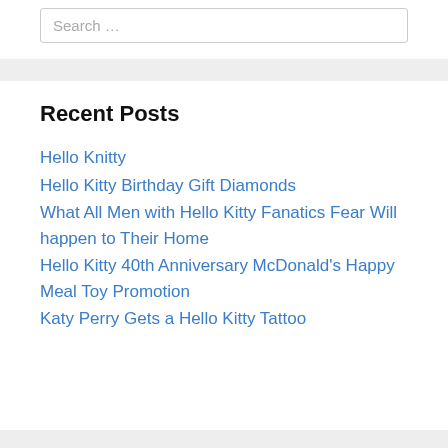Search …
Recent Posts
Hello Knitty
Hello Kitty Birthday Gift Diamonds
What All Men with Hello Kitty Fanatics Fear Will happen to Their Home
Hello Kitty 40th Anniversary McDonald's Happy Meal Toy Promotion
Katy Perry Gets a Hello Kitty Tattoo